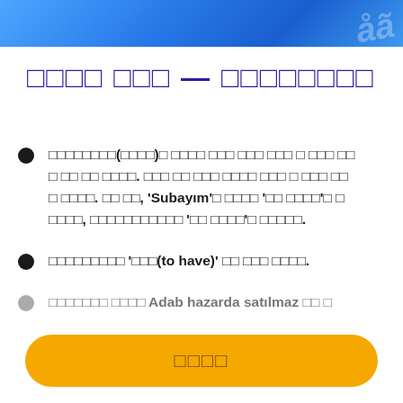[Figure (illustration): Blue gradient banner header with decorative swirl/wave pattern on right side]
□□□□ □□□ — □□□□□□□□
□□□□□□□□(□□□□)□ □□□□ □□□ □□□ □□□ □ □□□ □□ □ □□ □□ □□□□. □□□ □□ □□□ □□□□ □□□ □ □□□ □□ □ □□□□. □□ □□, 'Subayım'□ □□□□ '□□ □□□□'□ □ □□□□, □□□□□□□□□□□ '□□ □□□□'□ □□□□□.
□□□□□□□□□ '□□□(to have)' □□ □□□ □□□□.
□□□□□□□ □□□□ Adab hazarda satılmaz □□ □
□□□□